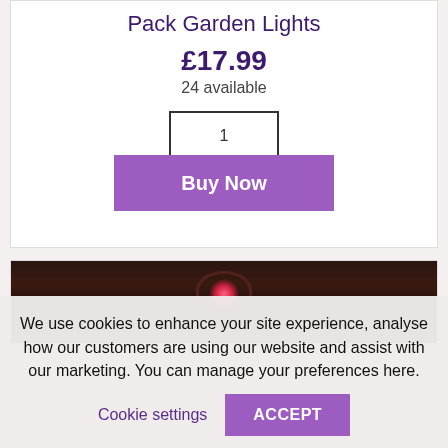Pack Garden Lights
£17.99
24 available
1
Buy Now
[Figure (photo): Dark outdoor garden scene with a pink/red glowing light and an arch shape visible]
We use cookies to enhance your site experience, analyse how our customers are using our website and assist with our marketing. You can manage your preferences here.
Cookie settings
ACCEPT